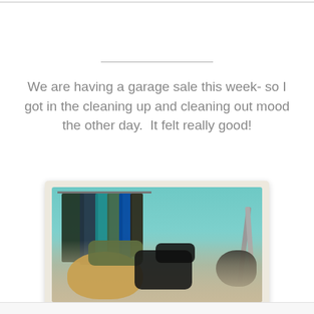We are having a garage sale this week- so I got in the cleaning up and cleaning out mood the other day.  It felt really good!
[Figure (photo): A photo of a cluttered closet with hanging clothes on a rail and bags/purses piled on the floor, styled as a Polaroid-like snapshot.]